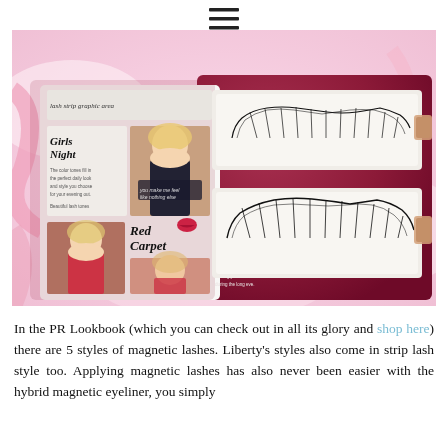[Figure (photo): A beauty/lifestyle product photo showing an open red gift box containing two sets of magnetic false lashes in white trays, alongside a 'Girls Night' and 'Red Carpet' lookbook insert featuring a blonde model. The box is placed on a pink and white feathery background with fairy lights.]
In the PR Lookbook (which you can check out in all its glory and shop here) there are 5 styles of magnetic lashes. Liberty's styles also come in strip lash style too. Applying magnetic lashes has also never been easier with the hybrid magnetic eyeliner, you simply